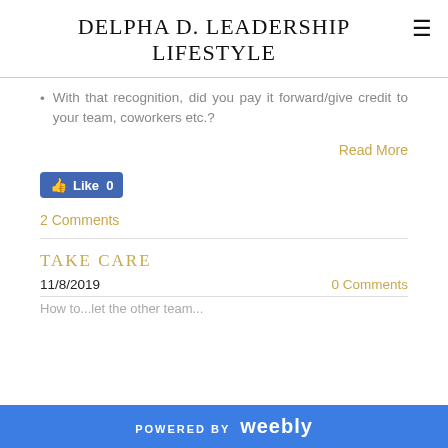DELPHA D. LEADERSHIP LIFESTYLE
With that recognition, did you pay it forward/give credit to your team, coworkers etc.?
Read More
[Figure (other): Facebook Like button showing Like 0]
2 Comments
TAKE CARE
11/8/2019   0 Comments
POWERED BY weebly